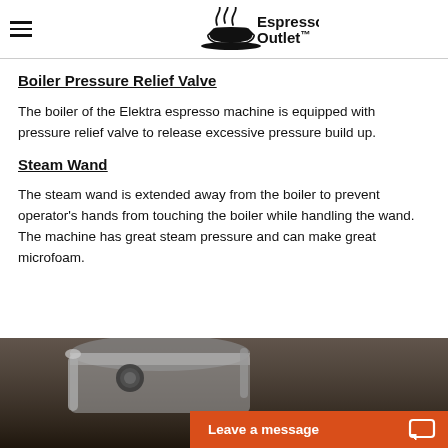Espresso Outlet™
Boiler Pressure Relief Valve
The boiler of the Elektra espresso machine is equipped with pressure relief valve to release excessive pressure build up.
Steam Wand
The steam wand is extended away from the boiler to prevent operator's hands from touching the boiler while handling the wand. The machine has great steam pressure and can make great microfoam.
[Figure (photo): Close-up photo of an espresso machine boiler and steam wand components showing chrome metal parts with a 'Leave a message' chat button overlay in orange]